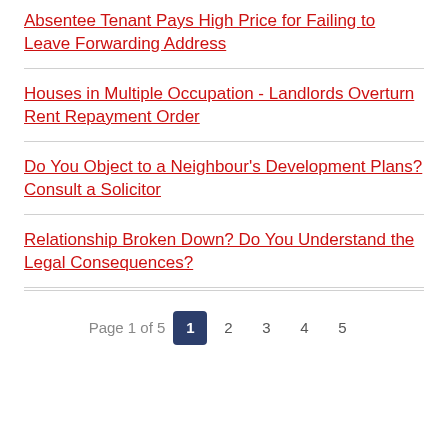Absentee Tenant Pays High Price for Failing to Leave Forwarding Address
Houses in Multiple Occupation - Landlords Overturn Rent Repayment Order
Do You Object to a Neighbour's Development Plans? Consult a Solicitor
Relationship Broken Down? Do You Understand the Legal Consequences?
Page 1 of 5   1 2 3 4 5